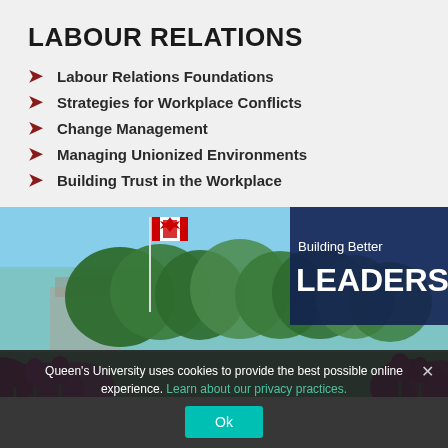LABOUR RELATIONS
Labour Relations Foundations
Strategies for Workplace Conflicts
Change Management
Managing Unionized Environments
Building Trust in the Workplace
[Figure (photo): Outdoor campus photo showing Canadian flag on flagpole, green trees, purple tulips in foreground, blue sky background. Overlay box with text 'Building Better LEADERS'.]
Queen's University uses cookies to provide the best possible online experience. Learn about our privacy practices.